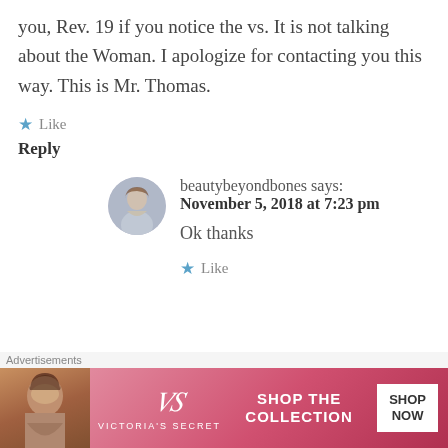you, Rev. 19 if you notice the vs. It is not talking about the Woman. I apologize for contacting you this way. This is Mr. Thomas.
★ Like
Reply
beautybeyondbones says:
November 5, 2018 at 7:23 pm
Ok thanks
★ Like
Advertisements
[Figure (other): Victoria's Secret advertisement banner with woman photo, VS logo, SHOP THE COLLECTION text, and SHOP NOW button]